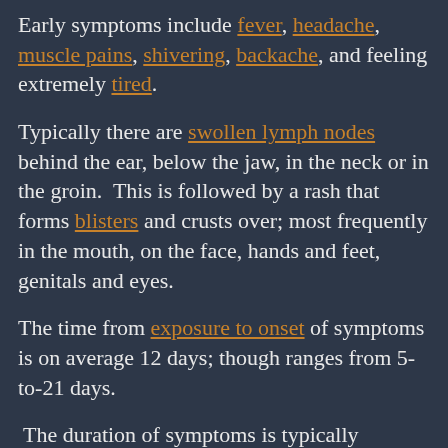Early symptoms include fever, headache, muscle pains, shivering, backache, and feeling extremely tired.
Typically there are swollen lymph nodes behind the ear, below the jaw, in the neck or in the groin. This is followed by a rash that forms blisters and crusts over; most frequently in the mouth, on the face, hands and feet, genitals and eyes.
The time from exposure to onset of symptoms is on average 12 days; though ranges from 5-to-21 days.
The duration of symptoms is typically